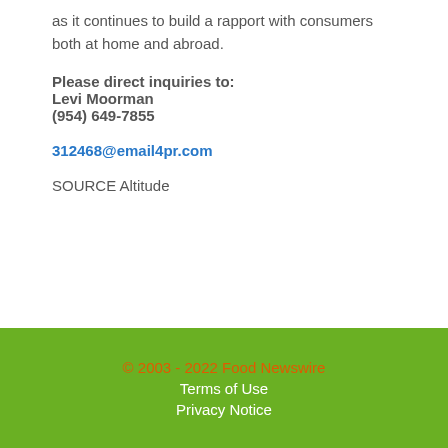as it continues to build a rapport with consumers both at home and abroad.
Please direct inquiries to:
Levi Moorman
(954) 649-7855
312468@email4pr.com
SOURCE Altitude
© 2003 - 2022 Food Newswire
Terms of Use
Privacy Notice